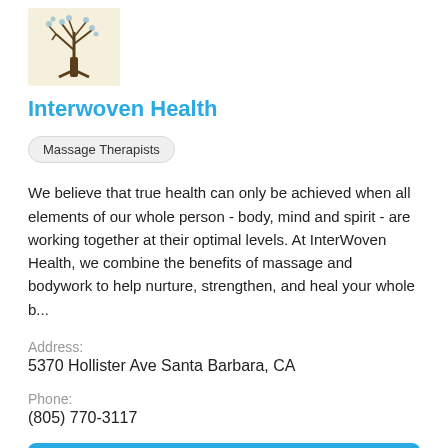[Figure (photo): Logo image of a tree illustration on a light yellow/beige background]
Interwoven Health
Massage Therapists
We believe that true health can only be achieved when all elements of our whole person - body, mind and spirit - are working together at their optimal levels. At InterWoven Health, we combine the benefits of massage and bodywork to help nurture, strengthen, and heal your whole b...
Address:
5370 Hollister Ave Santa Barbara, CA
Phone:
(805) 770-3117
Call
View Profile
[Figure (photo): Small thumbnail photo of a person at the bottom of the page]